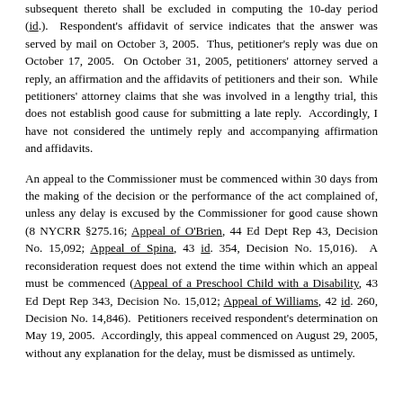subsequent thereto shall be excluded in computing the 10-day period (id.). Respondent's affidavit of service indicates that the answer was served by mail on October 3, 2005. Thus, petitioner's reply was due on October 17, 2005. On October 31, 2005, petitioners' attorney served a reply, an affirmation and the affidavits of petitioners and their son. While petitioners' attorney claims that she was involved in a lengthy trial, this does not establish good cause for submitting a late reply. Accordingly, I have not considered the untimely reply and accompanying affirmation and affidavits.
An appeal to the Commissioner must be commenced within 30 days from the making of the decision or the performance of the act complained of, unless any delay is excused by the Commissioner for good cause shown (8 NYCRR §275.16; Appeal of O'Brien, 44 Ed Dept Rep 43, Decision No. 15,092; Appeal of Spina, 43 id. 354, Decision No. 15,016). A reconsideration request does not extend the time within which an appeal must be commenced (Appeal of a Preschool Child with a Disability, 43 Ed Dept Rep 343, Decision No. 15,012; Appeal of Williams, 42 id. 260, Decision No. 14,846). Petitioners received respondent's determination on May 19, 2005. Accordingly, this appeal commenced on August 29, 2005, without any explanation for the delay, must be dismissed as untimely.